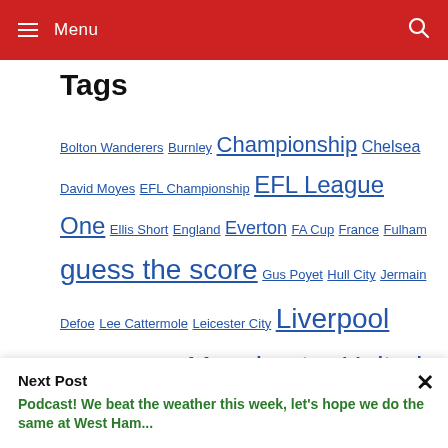Menu
Tags
Bolton Wanderers Burnley Championship Chelsea David Moyes EFL Championship EFL League One Ellis Short England Everton FA Cup France Fulham guess the score Gus Poyet Hull City Jermain Defoe Lee Cattermole Leicester City Liverpool Manchester City Manchester United Martin O'Neill Middlesbrough Newcastle United Niall Quinn Norwich City
Next Post
Podcast! We beat the weather this week, let's hope we do the same at West Ham...